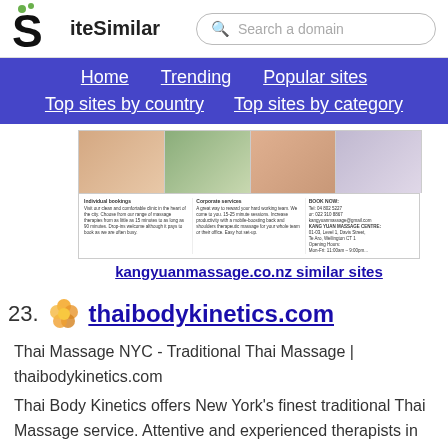SiteSimilar — Search a domain
Home | Trending | Popular sites | Top sites by country | Top sites by category
[Figure (screenshot): Screenshot thumbnail of kangyuanmassage.co.nz showing massage images and three columns: Individual bookings, Corporate services, BOOK NOW]
kangyuanmassage.co.nz similar sites
23. thaibodykinetics.com
Thai Massage NYC - Traditional Thai Massage | thaibodykinetics.com
Thai Body Kinetics offers New York's finest traditional Thai Massage service. Attentive and experienced therapists in the tranquility of our...